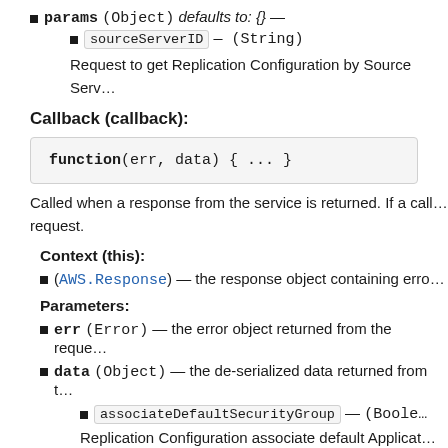params (Object) (defaults to: {}) —
sourceServerID — (String)
Request to get Replication Configuration by Source Serv…
Callback (callback):
function(err, data) { ... }
Called when a response from the service is returned. If a call… request.
Context (this):
(AWS.Response) — the response object containing erro…
Parameters:
err (Error) — the error object returned from the reque…
data (Object) — the de-serialized data returned from t…
associateDefaultSecurityGroup — (Boole…
Replication Configuration associate default Applicat…